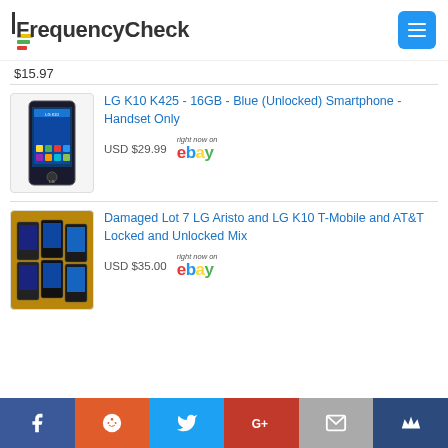FrequencyCheck
$15.97
LG K10 K425 - 16GB - Blue (Unlocked) Smartphone - Handset Only | USD $29.99 | right now on eBay
Damaged Lot 7 LG Aristo and LG K10 T-Mobile and AT&T Locked and Unlocked Mix | USD $35.00 | right now on eBay
Facebook, Reddit, Twitter, Google+, Email, Crown